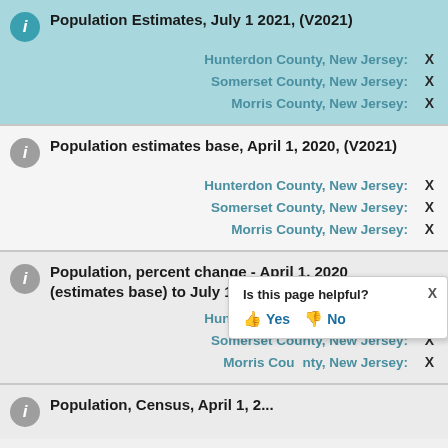Population Estimates, July 1 2021, (V2021)
Hunterdon County, New Jersey: X
Somerset County, New Jersey: X
Morris County, New Jersey: X
Population estimates base, April 1, 2020, (V2021)
Hunterdon County, New Jersey: X
Somerset County, New Jersey: X
Morris County, New Jersey: X
Population, percent change - April 1, 2020 (estimates base) to July 1, 2021, (V2021)
Hunterdon County, New Jersey: X
Somerset County, New Jersey: X
Morris County, New Jersey: X
Population, Census, April 1, 2...
Is this page helpful? Yes No